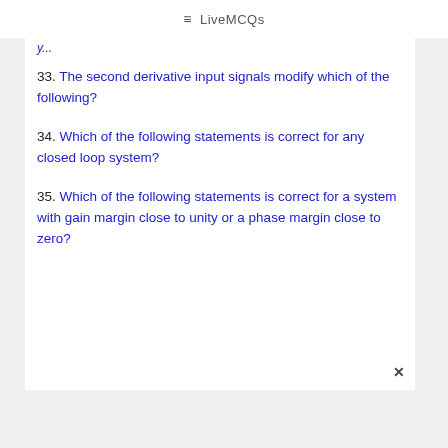≡ LiveMCQs
33. The second derivative input signals modify which of the following?
34. Which of the following statements is correct for any closed loop system?
35. Which of the following statements is correct for a system with gain margin close to unity or a phase margin close to zero?